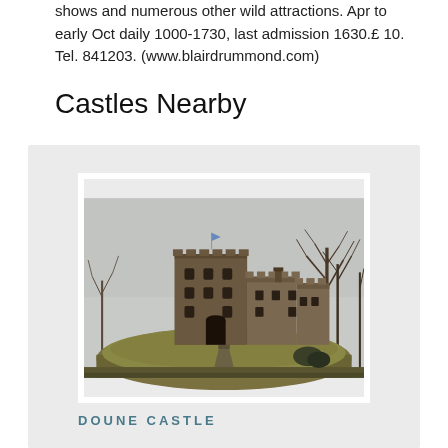shows and numerous other wild attractions. Apr to early Oct daily 1000-1730, last admission 1630.£ 10. Tel. 841203. (www.blairdrummond.com)
Castles Nearby
[Figure (photo): Photograph of Doune Castle, a medieval stone castle on a grassy mound, with bare winter trees on the right and an overcast sky. A small flag is visible at the top of the main tower.]
DOUNE CASTLE